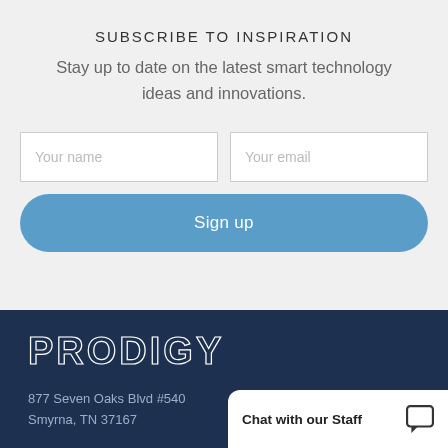SUBSCRIBE TO INSPIRATION
Stay up to date on the latest smart technology ideas and innovations.
[Figure (screenshot): A subscription form with two input fields (Your name, Your email) and a blue rounded Sign up button]
[Figure (logo): PRODIGY logo in white bold letters on dark navy background]
877 Seven Oaks Blvd #540
Smyrna, TN 37167
Chat with our Staff